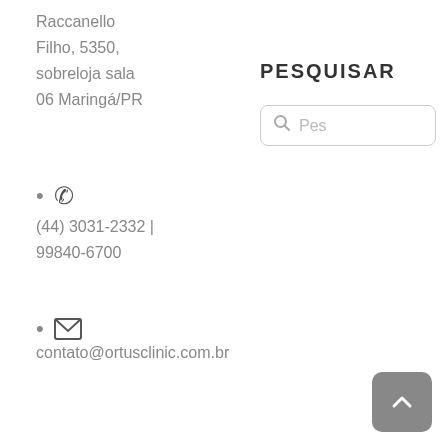Raccanello
Filho, 5350,
sobreloja sala
06 Maringá/PR
PESQUISAR
[Figure (other): Search box with magnifying glass icon and placeholder text 'Pes']
(44) 3031-2332 | 99840-6700
contato@ortusclinic.com.br
[Figure (other): Back to top button with upward chevron arrow, rounded rectangle, grey background]